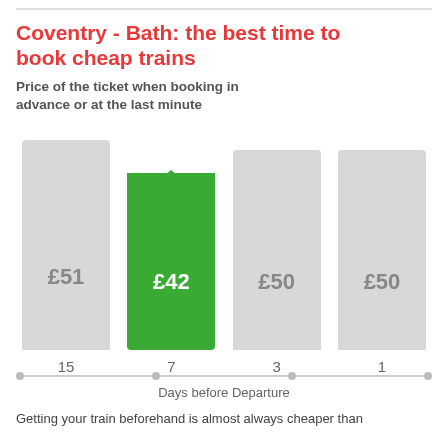Coventry - Bath: the best time to book cheap trains
Price of the ticket when booking in advance or at the last minute
[Figure (bar-chart): Price of the ticket when booking in advance or at the last minute]
Getting your train beforehand is almost always cheaper than